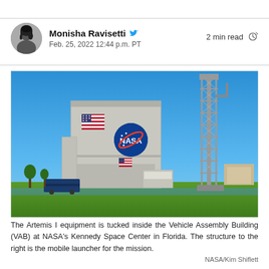Monisha Ravisetti
Feb. 25, 2022 12:44 p.m. PT
2 min read
[Figure (photo): NASA Vehicle Assembly Building (VAB) at Kennedy Space Center in Florida, with the mobile launcher structure visible to the right. Clear blue sky, green grass in foreground, water visible.]
The Artemis I equipment is tucked inside the Vehicle Assembly Building (VAB) at NASA's Kennedy Space Center in Florida. The structure to the right is the mobile launcher for the mission.
NASA/Kim Shiflett